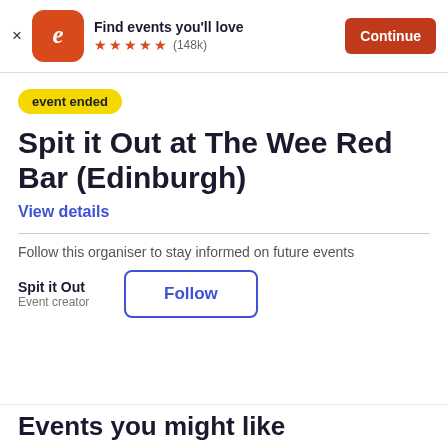Find events you'll love ★★★★★ (148k) Continue
event ended
Spit it Out at The Wee Red Bar (Edinburgh)
View details
Follow this organiser to stay informed on future events
Spit it Out
Event creator
Follow
Events you might like